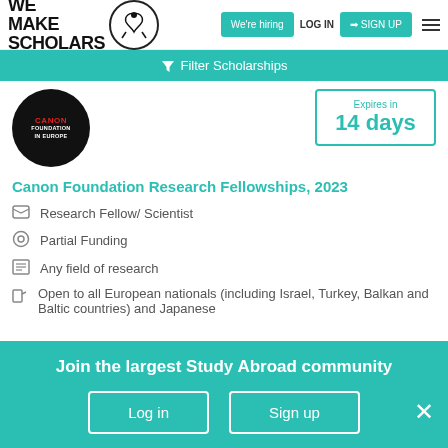[Figure (logo): We Make Scholars logo with acrobat figure in circle]
We're hiring
LOG IN
SIGN UP
Filter Scholarships
[Figure (logo): Canon Foundation in Europe logo - black oval with red Canon text]
Expires in
14 days
Canon Foundation Research Fellowships, 2023
Research Fellow/ Scientist
Partial Funding
Any field of research
Open to all European nationals (including Israel, Turkey, Balkan and Baltic countries) and Japanese
Join the largest Study Abroad community
Log in
Sign up